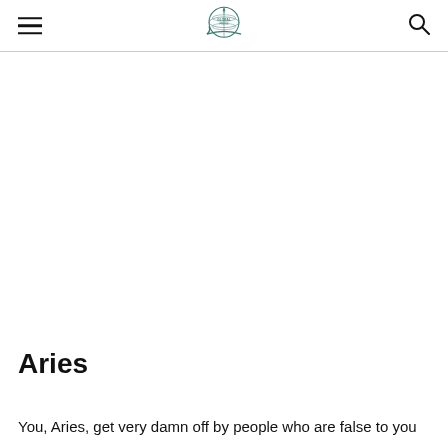[Logo: Global Press / navigation website header with hamburger menu and search icon]
Aries
You, Aries, get very damn off by people who are false to you